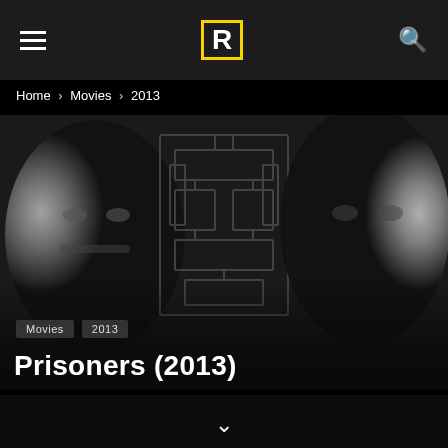≡  R  🔍
Home › Movies › 2013
[Figure (photo): Black and white movie poster for Prisoners (2013) showing two men's faces on either side with a maze pattern in the background]
Movies
2013
Prisoners (2013)